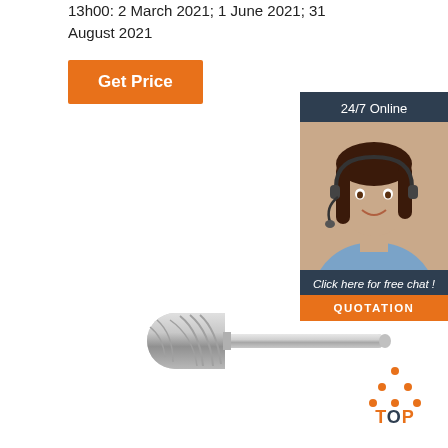13h00: 2 March 2021; 1 June 2021; 31 August 2021
Get Price
[Figure (other): 24/7 Online customer support agent sidebar widget with photo of woman with headset, 'Click here for free chat!' text, and orange QUOTATION button]
[Figure (photo): Carbide rotary burr / rotary file tool with cylindrical head and long shank, metallic silver color]
[Figure (logo): TOP logo with orange triangle dots above the text, O in dark blue]